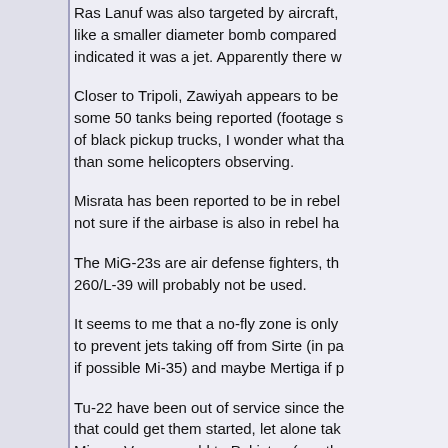Ras Lanuf was also targeted by aircraft, like a smaller diameter bomb compared indicated it was a jet. Apparently there w
Closer to Tripoli, Zawiyah appears to be some 50 tanks being reported (footage s of black pickup trucks, I wonder what tha than some helicopters observing.
Misrata has been reported to be in rebel not sure if the airbase is also in rebel ha
The MiG-23s are air defense fighters, th 260/L-39 will probably not be used.
It seems to me that a no-fly zone is only to prevent jets taking off from Sirte (in pa if possible Mi-35) and maybe Mertiga if p
Tu-22 have been out of service since the that could get them started, let alone tak Mirage Vs were sold to Pakistan (mostly
Good thing they've been lagging on thei Su-30, Yak-130s.